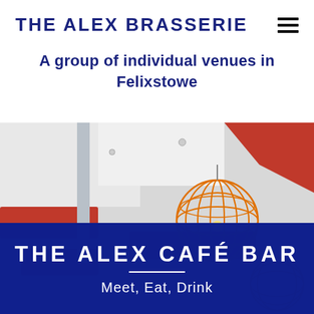THE ALEX BRASSERIE
A group of individual venues in Felixstowe
[Figure (photo): Interior of The Alex Café Bar showing white ceiling with red angular ceiling panels and an orange wire-frame globe pendant light hanging from the ceiling. The restaurant interior is visible with blue tinted overlay at the bottom.]
THE ALEX CAFÉ BAR
Meet, Eat, Drink